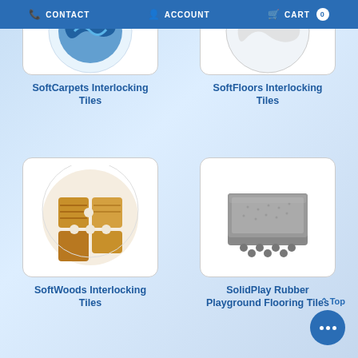CONTACT  ACCOUNT  CART 0
[Figure (photo): SoftCarpets interlocking foam tile with blue puzzle-piece edges shown in circular crop]
SoftCarpets Interlocking Tiles
[Figure (photo): SoftFloors interlocking tiles shown in circular crop with light color]
SoftFloors Interlocking Tiles
[Figure (photo): SoftWoods interlocking foam tiles with wood-grain finish shown in circular crop]
SoftWoods Interlocking Tiles
[Figure (photo): SolidPlay rubber playground flooring tile, square gray rubber block with textured surface]
SolidPlay Rubber Playground Flooring Tiles
^ Top